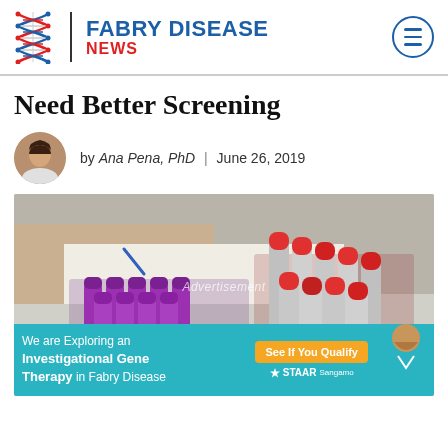FABRY DISEASE NEWS
Need Better Screening
by Ana Pena, PhD | June 26, 2019
[Figure (photo): Medical laboratory blood sample tubes in purple and red, with a person writing in the background. An advertisement banner overlay reads: We are Exploring an Investigational Gene Therapy in Fabry Disease. See If You Qualify. STAAR Sangamo.]